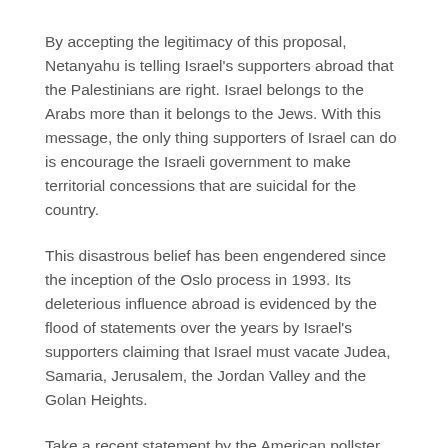By accepting the legitimacy of this proposal, Netanyahu is telling Israel's supporters abroad that the Palestinians are right. Israel belongs to the Arabs more than it belongs to the Jews. With this message, the only thing supporters of Israel can do is encourage the Israeli government to make territorial concessions that are suicidal for the country.
This disastrous belief has been engendered since the inception of the Oslo process in 1993. Its deleterious influence abroad is evidenced by the flood of statements over the years by Israel's supporters claiming that Israel must vacate Judea, Samaria, Jerusalem, the Jordan Valley and the Golan Heights.
Take a recent statement by the American pollster Frank Luntz. Luntz often advises American pro-Israel groups about how to improve Israel's image in the world. Yet as this friend of Israel